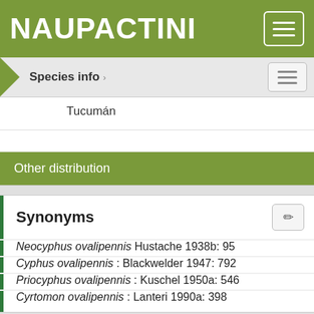NAUPACTINI
Species info
Tucumán
Other distribution
Synonyms
Neocyphus ovalipennis Hustache 1938b: 95
Cyphus ovalipennis : Blackwelder 1947: 792
Priocyphus ovalipennis : Kuschel 1950a: 546
Cyrtomon ovalipennis : Lanteri 1990a: 398
Observations
Cyrtomon ovalipennis differentiates by the dull brown vestiture,